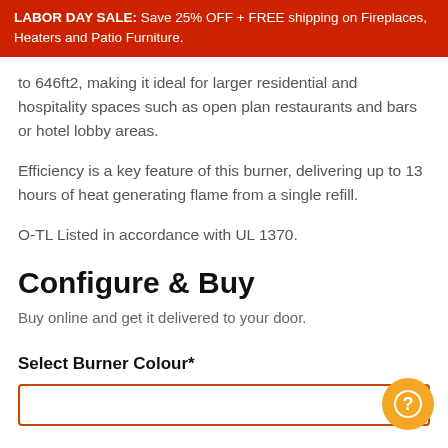LABOR DAY SALE: Save 25% OFF + FREE shipping on Fireplaces, Heaters and Patio Furniture.
to 646ft2, making it ideal for larger residential and hospitality spaces such as open plan restaurants and bars or hotel lobby areas.
Efficiency is a key feature of this burner, delivering up to 13 hours of heat generating flame from a single refill.
O-TL Listed in accordance with UL 1370.
Configure & Buy
Buy online and get it delivered to your door.
Select Burner Colour*